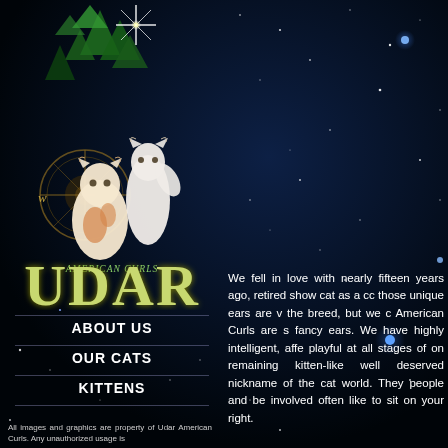[Figure (illustration): Two American Curl cats posed against a starry night background with fantasy mountain scenery and a bright star above. A compass/wheel logo is visible on the left. Text reads 'American Curls' in stylized green font and 'UDAR' in large gold-green decorative font below.]
ABOUT US
OUR CATS
KITTENS
All images and graphics are property of Udar American Curls. Any unauthorized usage is
We fell in love with nearly fifteen years ago, retired show cat as a cc those unique ears are v the breed, but we c American Curls are s fancy ears. We have highly intelligent, affe playful at all stages of on remaining kitten-like well deserved nickname of the cat world. They people and be involved often like to sit on your right.